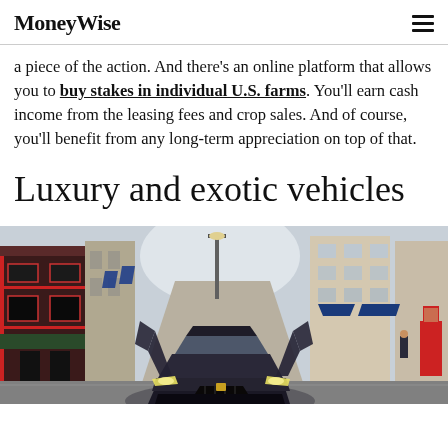MoneyWise
a piece of the action. And there’s an online platform that allows you to buy stakes in individual U.S. farms. You’ll earn cash income from the leasing fees and crop sales. And of course, you’ll benefit from any long-term appreciation on top of that.
Luxury and exotic vehicles
[Figure (photo): A luxury sports car (Lamborghini) with scissor doors open parked on a city street with shops and buildings in the background]